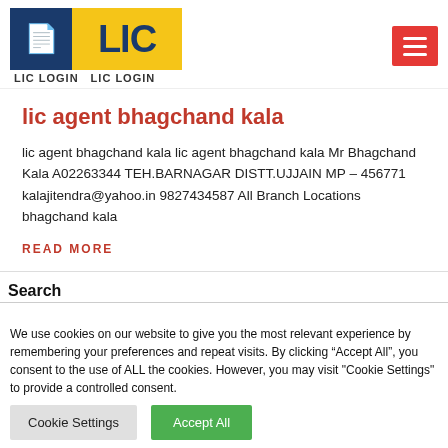[Figure (logo): LIC Login logo with blue box containing document icon and yellow box with LIC text, plus hamburger menu button in red]
lic agent bhagchand kala
lic agent bhagchand kala lic agent bhagchand kala Mr Bhagchand Kala A02263344 TEH.BARNAGAR DISTT.UJJAIN MP – 456771 kalajitendra@yahoo.in 9827434587 All Branch Locations bhagchand kala
READ MORE
Search
We use cookies on our website to give you the most relevant experience by remembering your preferences and repeat visits. By clicking "Accept All", you consent to the use of ALL the cookies. However, you may visit "Cookie Settings" to provide a controlled consent.